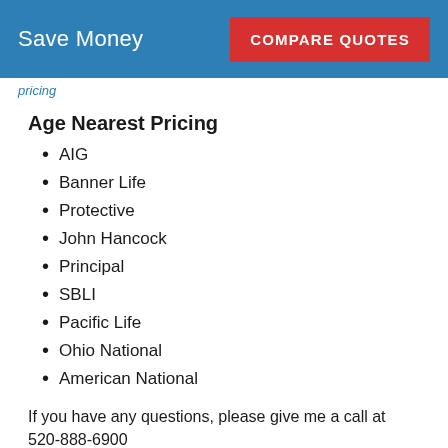Save Money | COMPARE QUOTES
pricing
Age Nearest Pricing
AIG
Banner Life
Protective
John Hancock
Principal
SBLI
Pacific Life
Ohio National
American National
If you have any questions, please give me a call at 520-888-6900